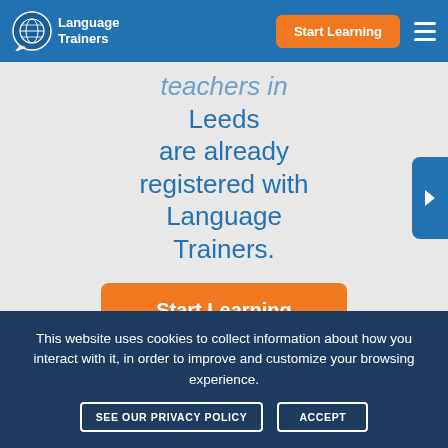Language Trainers — Start Learning
teachers in Leeds are already registered with Language Trainers.
Start Learning
This website uses cookies to collect information about how you interact with it, in order to improve and customize your browsing experience.
SEE OUR PRIVACY POLICY | ACCEPT